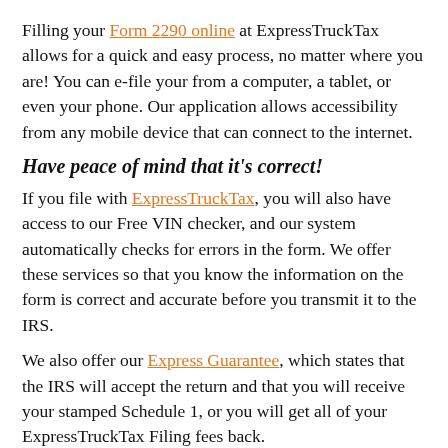Filling your Form 2290 online at ExpressTruckTax allows for a quick and easy process, no matter where you are! You can e-file your from a computer, a tablet, or even your phone. Our application allows accessibility from any mobile device that can connect to the internet.
Have peace of mind that it's correct!
If you file with ExpressTruckTax, you will also have access to our Free VIN checker, and our system automatically checks for errors in the form. We offer these services so that you know the information on the form is correct and accurate before you transmit it to the IRS.
We also offer our Express Guarantee, which states that the IRS will accept the return and that you will receive your stamped Schedule 1, or you will get all of your ExpressTruckTax Filing fees back.